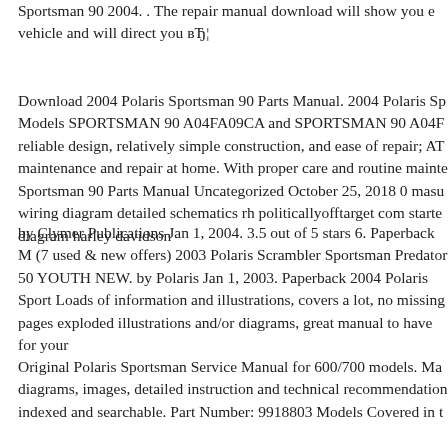Sportsman 90 2004. . The repair manual download will show you every vehicle and will direct you вЂ¦
Download 2004 Polaris Sportsman 90 Parts Manual. 2004 Polaris Sp Models SPORTSMAN 90 A04FA09CA and SPORTSMAN 90 A04F reliable design, relatively simple construction, and ease of repair; AT maintenance and repair at home. With proper care and routine mainte Sportsman 90 Parts Manual Uncategorized October 25, 2018 0 masu wiring diagram detailed schematics rh politicallyofftarget com starte diagram harley davidson
by Clymer Publications Jan 1, 2004. 3.5 out of 5 stars 6. Paperback M (7 used & new offers) 2003 Polaris Scrambler Sportsman Predator 50 YOUTH NEW. by Polaris Jan 1, 2003. Paperback 2004 Polaris Sport Loads of information and illustrations, covers a lot, no missing pages exploded illustrations and/or diagrams, great manual to have for your
Original Polaris Sportsman Service Manual for 600/700 models. Ma diagrams, images, detailed instruction and technical recommendation indexed and searchable. Part Number: 9918803 Models Covered in t